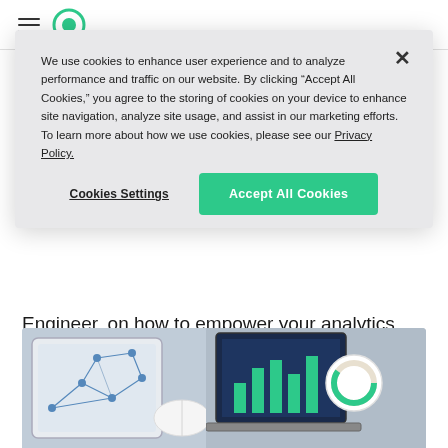[Figure (screenshot): Website navigation bar with hamburger menu icon and circular logo]
We use cookies to enhance user experience and to analyze performance and traffic on our website. By clicking "Accept All Cookies," you agree to the storing of cookies on your device to enhance site navigation, analyze site usage, and assist in our marketing efforts. To learn more about how we use cookies, please see our Privacy Policy.
Cookies Settings
Accept All Cookies
Engineer, on how to empower your analytics team to discover, and find any data in the enterprise, collaborate, and perform ad-hoc analytics with any BI or data science tool.
[Figure (photo): Photo showing tablets/devices with network graph visualization and laptop with bar chart/dashboard, on a desk surface]